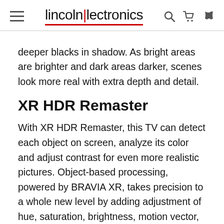lincolnlectronics
deeper blacks in shadow. As bright areas are brighter and dark areas darker, scenes look more real with extra depth and detail.
XR HDR Remaster
With XR HDR Remaster, this TV can detect each object on screen, analyze its color and adjust contrast for even more realistic pictures. Object-based processing, powered by BRAVIA XR, takes precision to a whole new level by adding adjustment of hue, saturation, brightness, motion vector, bandwidth, and more. The result is exceptionally real scenes with greater depth, lifelike textures, and natural colors.
XR C...